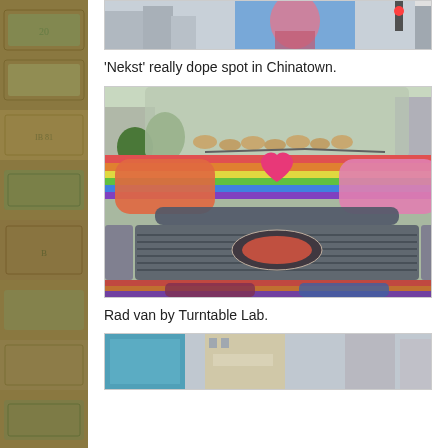[Figure (photo): Partial view of a cityscape photo with mural, cropped at top of page]
'Nekst' really dope spot in Chinatown.
[Figure (photo): Front view of a colorfully painted van with rainbow and heart designs, with bread rolls on the dashboard, by Turntable Lab]
Rad van by Turntable Lab.
[Figure (photo): Partial view of a street scene photo, cropped at bottom of page]